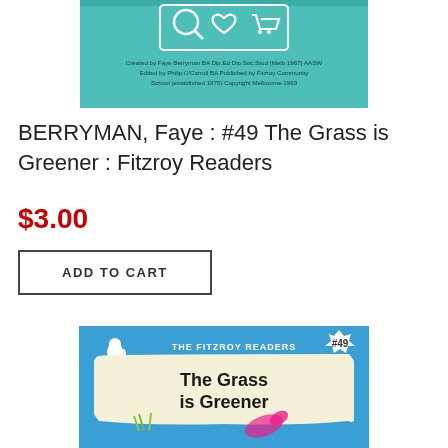[Figure (photo): Top portion of a teal/green book cover with icons (search, heart, cart) and small text credits: Created by Faye Berryman BA Dip.Ed Dip.Soc.Stud (Melb 1967) AASW, Edited by Philip O'Carroll BA, Published by Fitzroy Community School (established 1975), Copyright Melbourne 1993]
BERRYMAN, Faye : #49 The Grass is Greener : Fitzroy Readers
$3.00
ADD TO CART
[Figure (photo): Bottom portion of a blue book cover showing 'THE FITZROY READERS' header, a white lion logo, a star badge with '#49', title 'The Grass is Greener' in bold black text on cream background, and a watercolor illustration of grass and a pink bird/parrot]